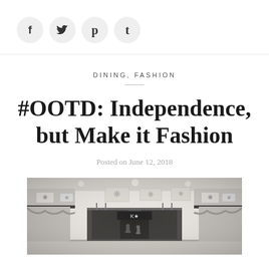[Figure (infographic): Social media share icons row: Facebook (f), Twitter (bird), Pinterest (p), Tumblr (t) — each in a light grey circle]
DINING, FASHION
#OOTD: Independence, but Make it Fashion
Posted on June 12, 2018
[Figure (photo): Interior of a shopping mall, black and white photo, showing multi-level atrium with decorative banners, shopfronts, balconies and people walking]